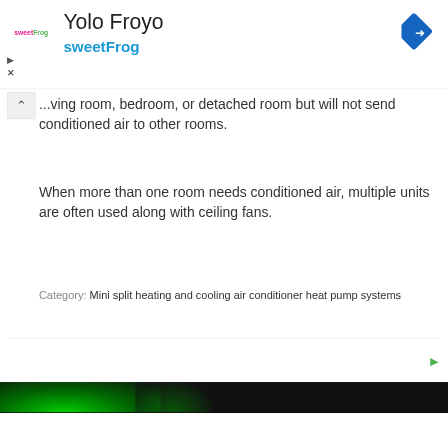[Figure (logo): SweetFrog frozen yogurt advertisement banner with logo, 'Yolo Froyo' title, 'sweetFrog' subtitle, and navigation diamond icon]
...ving room, bedroom, or detached room but will not send conditioned air to other rooms.
When more than one room needs conditioned air, multiple units are often used along with ceiling fans.
Category: Mini split heating and cooling air conditioner heat pump systems
[Figure (photo): Dark image with green glow at bottom of page, partially visible]